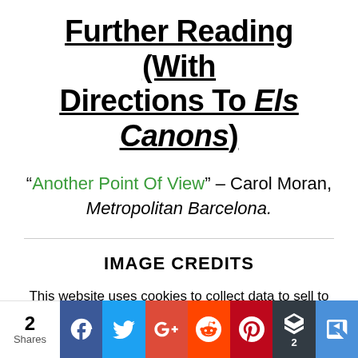Further Reading (With Directions To Els Canons)
“Another Point Of View” – Carol Moran, Metropolitan Barcelona.
IMAGE CREDITS
This website uses cookies to collect data to sell to known criminals and brands you really hate. No, not really. No designs on your data. I'm just a bloke with a blog who can barely tie his own shoelaces. Hope